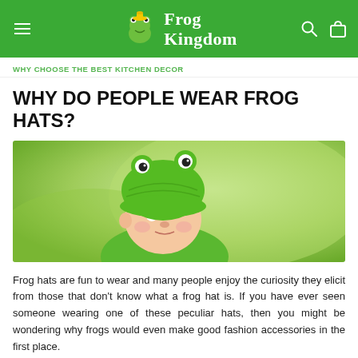Frog Kingdom
WHY CHOOSE THE BEST KITCHEN DECOR
WHY DO PEOPLE WEAR FROG HATS?
[Figure (photo): Baby wearing a green crocheted frog hat, lying on a green background]
Frog hats are fun to wear and many people enjoy the curiosity they elicit from those that don't know what a frog hat is. If you have ever seen someone wearing one of these peculiar hats, then you might be wondering why frogs would even make good fashion accessories in the first place.